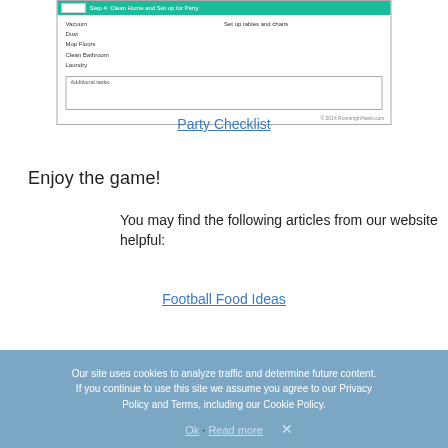[Figure (screenshot): Checklist screenshot showing 'Step 4: Clean Home and Set up for Party' header in teal/green, with tasks: Vacuum, Dust, Mop Floors, Clean Bathroom, Laundry on left column and 'Set up tables and chairs' on right column. Below is an 'Additional tasks:' text box. Footer shows copyright 2014 runninginheels.com]
Party Checklist
Enjoy the game!
You may find the following articles from our website helpful:
Football Food Ideas
Our site uses cookies to analyze traffic and determine future content. If you continue to use this site we assume you agree to our Privacy Policy and Terms, including our Cookie Policy.
Ok · Read more